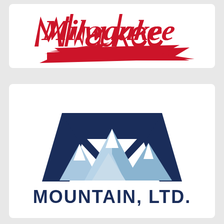[Figure (logo): Milwaukee Tool logo — red script lettering 'Milwaukee' with a red lightning bolt graphic beneath it on a white background]
[Figure (logo): Mountain, Ltd. logo — dark navy blue capital letter M shape forming mountain silhouette with light blue and white mountain peaks inside, and bold dark navy text 'MOUNTAIN, LTD.' below on white background]